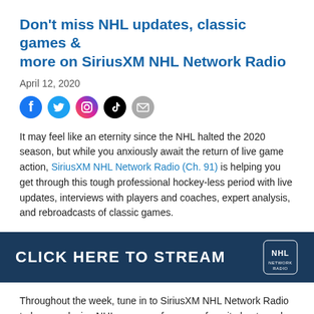Don't miss NHL updates, classic games & more on SiriusXM NHL Network Radio
April 12, 2020
[Figure (infographic): Social media share icons: Facebook (blue circle), Twitter (blue circle), Instagram (gradient pink/purple circle), TikTok (black circle), Email (grey circle)]
It may feel like an eternity since the NHL halted the 2020 season, but while you anxiously await the return of live game action, SiriusXM NHL Network Radio (Ch. 91) is helping you get through this tough professional hockey-less period with live updates, interviews with players and coaches, expert analysis, and rebroadcasts of classic games.
[Figure (infographic): Dark blue banner with white bold text: CLICK HERE TO STREAM, and NHL logo on the right]
Throughout the week, tune in to SiriusXM NHL Network Radio to hear exclusive NHL coverage from your favorite hosts and